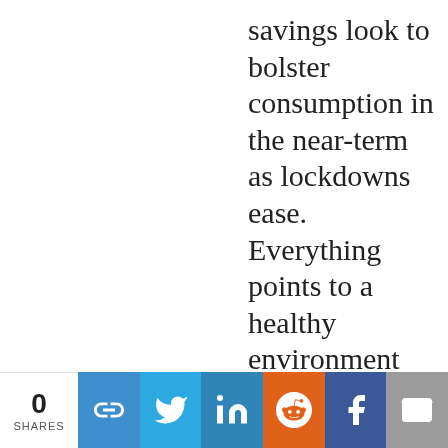savings look to bolster consumption in the near-term as lockdowns ease. Everything points to a healthy environment for risk. However, that could also be the
0 SHARES | share buttons: link, twitter, linkedin, reddit, facebook, email